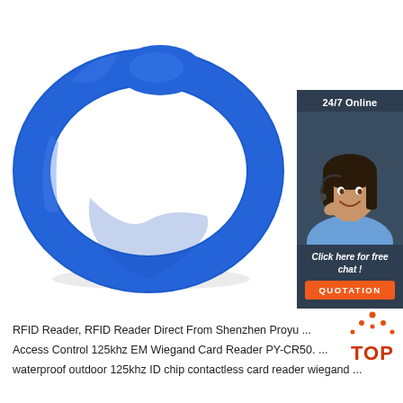[Figure (photo): Blue silicone RFID wristband product photo on white background]
[Figure (infographic): 24/7 Online chat widget with customer service agent photo, 'Click here for free chat!' text, and orange QUOTATION button]
[Figure (logo): Orange and red TOP icon with dots forming a triangle above the word TOP]
RFID Reader, RFID Reader Direct From Shenzhen Proyu ...
Access Control 125khz EM Wiegand Card Reader PY-CR50. ...
waterproof outdoor 125khz ID chip contactless card reader wiegand ...